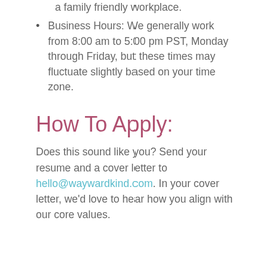a family friendly workplace.
Business Hours: We generally work from 8:00 am to 5:00 pm PST, Monday through Friday, but these times may fluctuate slightly based on your time zone.
How To Apply:
Does this sound like you? Send your resume and a cover letter to hello@waywardkind.com. In your cover letter, we'd love to hear how you align with our core values.